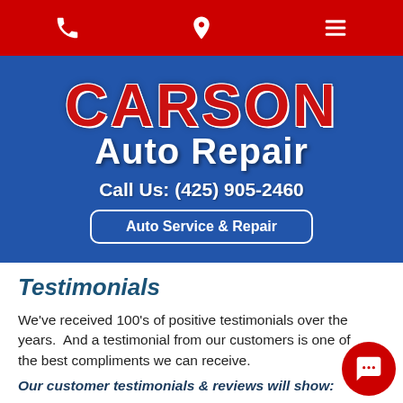Navigation bar with phone, location, and menu icons
[Figure (logo): Carson Auto Repair logo on blue background with phone number and Auto Service & Repair button]
Testimonials
We've received 100's of positive testimonials over the years.  And a testimonial from our customers is one of the best compliments we can receive.
Our customer testimonials & reviews will show:
Our commitment to our customers and their